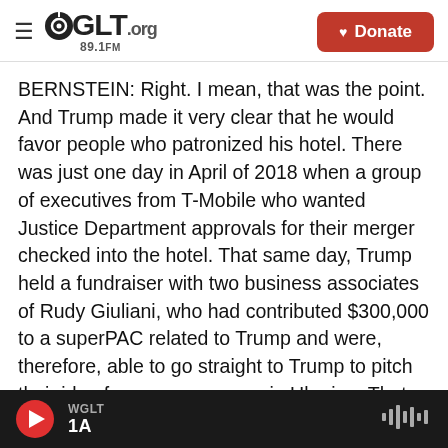WGLT.org 89.1FM | Donate
BERNSTEIN: Right. I mean, that was the point. And Trump made it very clear that he would favor people who patronized his hotel. There was just one day in April of 2018 when a group of executives from T-Mobile who wanted Justice Department approvals for their merger checked into the hotel. That same day, Trump held a fundraiser with two business associates of Rudy Giuliani, who had contributed $300,000 to a superPAC related to Trump and were, therefore, able to go straight to Trump to pitch their idea for a gas company in Ukraine. That was what was going on at the hotel.
WGLT | 1A